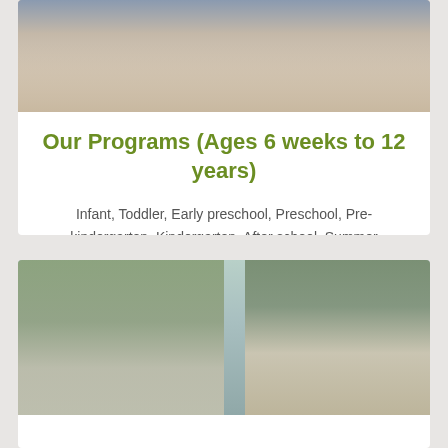[Figure (photo): Children sitting on the floor together in a classroom or school setting]
Our Programs (Ages 6 weeks to 12 years)
Infant, Toddler, Early preschool, Preschool, Pre-kindergarten, Kindergarten, After school, Summer adventure club
[Figure (photo): Children walking outside near a Primrose Schools building/bus, smiling and carrying backpacks]